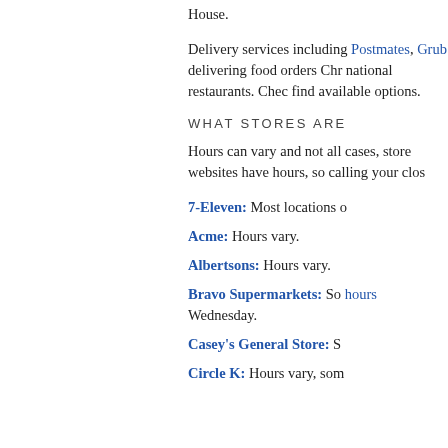House.
Delivery services including Postmates, Grub delivering food orders Chr national restaurants. Chec find available options.
WHAT STORES ARE
Hours can vary and not all cases, store websites have hours, so calling your clos
7-Eleven: Most locations o
Acme: Hours vary.
Albertsons: Hours vary.
Bravo Supermarkets: So hours Wednesday.
Casey's General Store: S
Circle K: Hours vary, som